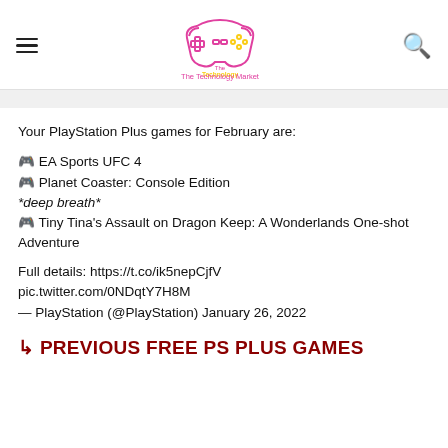The Technology Market — navigation header with hamburger menu, logo, and search icon
Your PlayStation Plus games for February are:
🎮 EA Sports UFC 4
🎮 Planet Coaster: Console Edition
*deep breath*
🎮 Tiny Tina's Assault on Dragon Keep: A Wonderlands One-shot Adventure
Full details: https://t.co/ik5nepCjfV
pic.twitter.com/0NDqtY7H8M
— PlayStation (@PlayStation) January 26, 2022
↳ PREVIOUS FREE PS PLUS GAMES